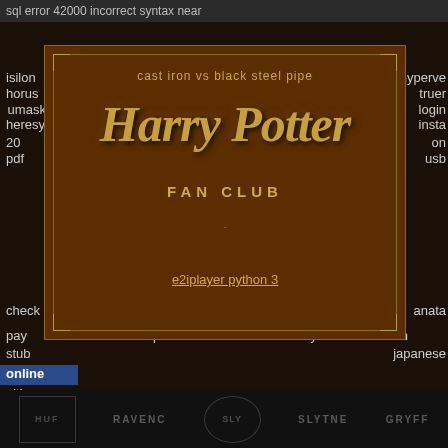sql error 42000 incorrect syntax near
cast iron vs black steel pipe
Harry Potter FAN CLUB
e2iplayer python 3
isilon horus umask heresy 20 pdf
hyperv truer login insta on usb
check
anata
pay withcredentials step must be called with a body in
stub japanese
online
ultipro